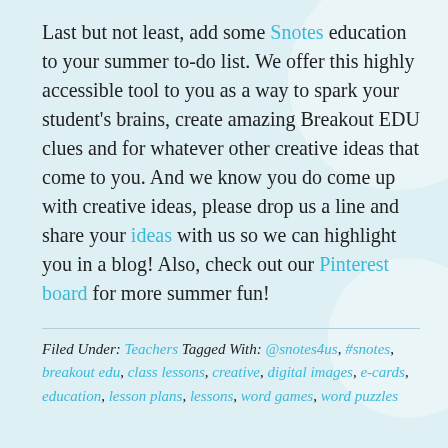Last but not least, add some Snotes education to your summer to-do list. We offer this highly accessible tool to you as a way to spark your student's brains, create amazing Breakout EDU clues and for whatever other creative ideas that come to you. And we know you do come up with creative ideas, please drop us a line and share your ideas with us so we can highlight you in a blog! Also, check out our Pinterest board for more summer fun!
Filed Under: Teachers Tagged With: @snotes4us, #snotes, breakout edu, class lessons, creative, digital images, e-cards, education, lesson plans, lessons, word games, word puzzles